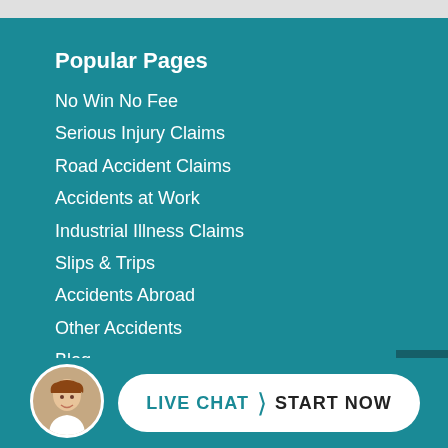Popular Pages
No Win No Fee
Serious Injury Claims
Road Accident Claims
Accidents at Work
Industrial Illness Claims
Slips & Trips
Accidents Abroad
Other Accidents
Blog
About Your Claim
Make a Claim Online
Wh... Cla...
[Figure (illustration): Live chat button with avatar of smiling woman, teal background, pill-shaped white button reading LIVE CHAT > START NOW]